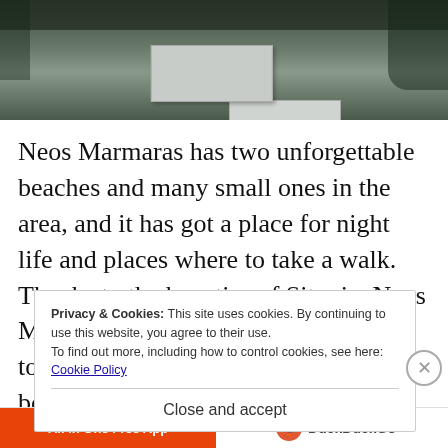[Figure (photo): Photograph of a white stone/concrete structure or pedestal outdoors with dark foliage in background]
Neos Marmaras has two unforgettable beaches and many small ones in the area, and it has got a place for night life and places where to take a walk. Thanks to the beauties of Sitonia, Neos Marmaras is now a very popular touristic place with a port for fisher boats and touristic boats
Privacy & Cookies: This site uses cookies. By continuing to use this website, you agree to their use.
To find out more, including how to control cookies, see here: Cookie Policy
Close and accept